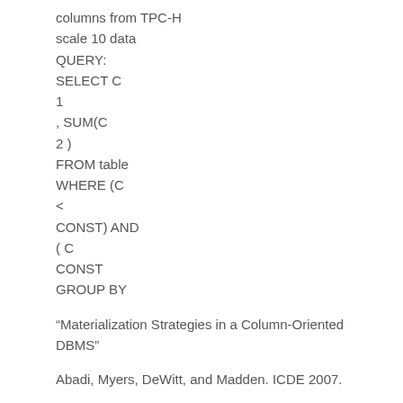columns from TPC-H
scale 10 data
QUERY:
SELECT C
1
, SUM(C
2 )
FROM table
WHERE (C
<
CONST) AND
( C
CONST
GROUP BY
“Materialization Strategies in a Column-Oriented DBMS”
Abadi, Myers, DeWitt, and Madden. ICDE 2007.
34  Even on uncompressed data, late materialization is still a win
Materializing late still
works best
QUERY: